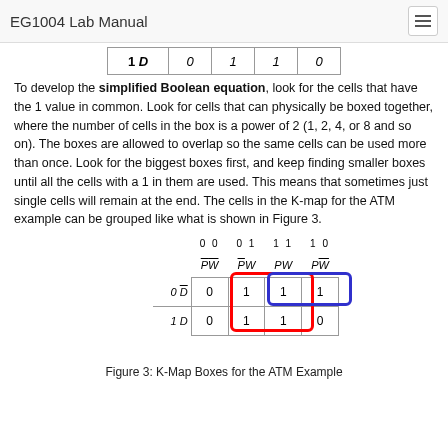EG1004 Lab Manual
| 1 D | 0 | 1 | 1 | 0 |
| --- | --- | --- | --- | --- |
To develop the simplified Boolean equation, look for the cells that have the 1 value in common. Look for cells that can physically be boxed together, where the number of cells in the box is a power of 2 (1, 2, 4, or 8 and so on). The boxes are allowed to overlap so the same cells can be used more than once. Look for the biggest boxes first, and keep finding smaller boxes until all the cells with a 1 in them are used. This means that sometimes just single cells will remain at the end. The cells in the K-map for the ATM example can be grouped like what is shown in Figure 3.
[Figure (other): K-Map with colored grouping boxes. Columns: 00 (P̄W̄), 01 (P̄W), 11 (PW), 10 (PW̄). Row 0 D̄: 0, 1, 1, 1. Row 1 D: 0, 1, 1, 0. Red box around columns 01 and 11 for both rows. Blue box around columns 11 and 10 for row 0 D̄.]
Figure 3: K-Map Boxes for the ATM Example